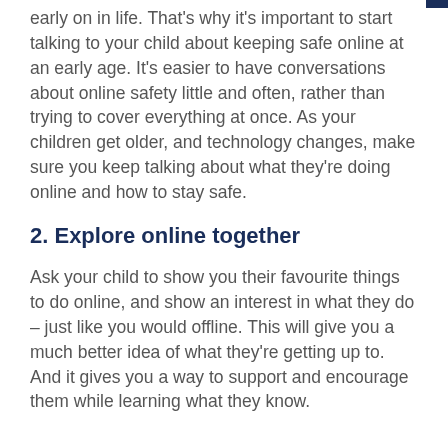early on in life. That's why it's important to start talking to your child about keeping safe online at an early age. It's easier to have conversations about online safety little and often, rather than trying to cover everything at once. As your children get older, and technology changes, make sure you keep talking about what they're doing online and how to stay safe.
2. Explore online together
Ask your child to show you their favourite things to do online, and show an interest in what they do – just like you would offline. This will give you a much better idea of what they're getting up to. And it gives you a way to support and encourage them while learning what they know.